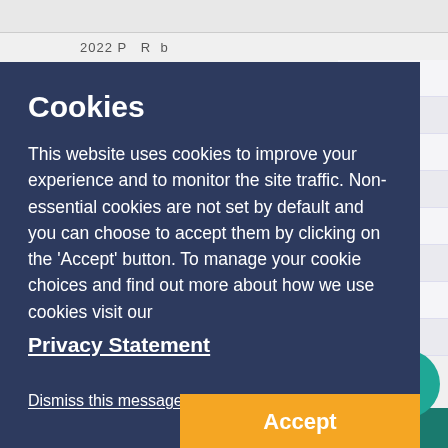Cookies
This website uses cookies to improve your experience and to monitor the site traffic. Non-essential cookies are not set by default and you can choose to accept them by clicking on the 'Accept' button. To manage your cookie choices and find out more about how we use cookies visit our
Privacy Statement
Dismiss this message
Accept